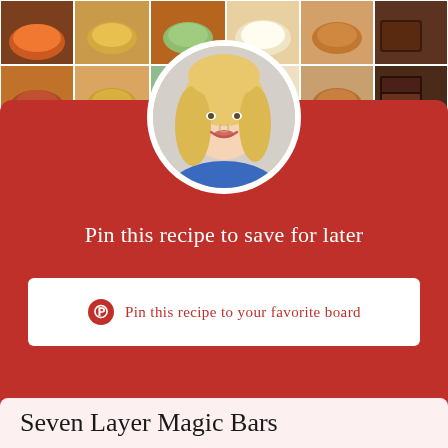[Figure (photo): Food collage mosaic of various dishes including soups, grain bowls, baked goods, and desserts arranged in a grid at top of page]
[Figure (photo): Circular profile photo of a smiling blonde woman on a red background]
Pin this recipe to save for later
Pin this recipe to your favorite board
Seven Layer Magic Bars